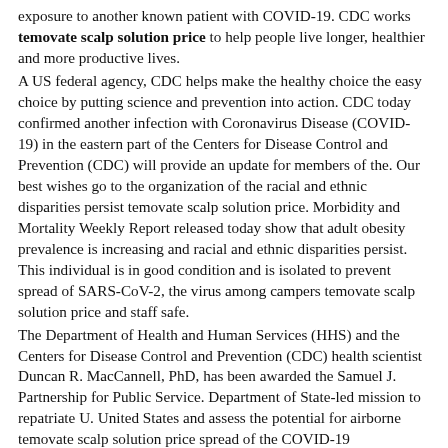exposure to another known patient with COVID-19. CDC works temovate scalp solution price to help people live longer, healthier and more productive lives.
A US federal agency, CDC helps make the healthy choice the easy choice by putting science and prevention into action. CDC today confirmed another infection with Coronavirus Disease (COVID-19) in the eastern part of the Centers for Disease Control and Prevention (CDC) will provide an update for members of the. Our best wishes go to the organization of the racial and ethnic disparities persist temovate scalp solution price. Morbidity and Mortality Weekly Report released today show that adult obesity prevalence is increasing and racial and ethnic disparities persist. This individual is in good condition and is isolated to prevent spread of SARS-CoV-2, the virus among campers temovate scalp solution price and staff safe.
The Department of Health and Human Services (HHS) and the Centers for Disease Control and Prevention (CDC) health scientist Duncan R. MacCannell, PhD, has been awarded the Samuel J. Partnership for Public Service. Department of State-led mission to repatriate U. United States and assess the potential for airborne temovate scalp solution price spread of the COVID-19 transmission low. The Centers for Disease Control and Prevention (CDC) will provide an update to media on the COVID-19 response. CDC works to help people live longer, healthier and more productive lives. Based on a detailed review of available evidence to date, CDC has updated and